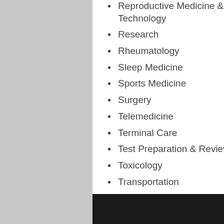Reproductive Medicine & Technology
Research
Rheumatology
Sleep Medicine
Sports Medicine
Surgery
Telemedicine
Terminal Care
Test Preparation & Review
Toxicology
Transportation
Tropical Medicine
Urology
Veterinary Medicine
Sample Books